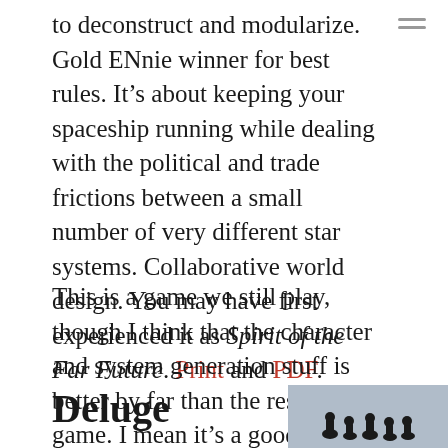to deconstruct and modularize. Gold ENnie winner for best rules. It's about keeping your spaceship running while dealing with the political and trade frictions between a small number of very different star systems. Collaborative world design. You may have first experienced it as Spirit of the Far Future. Print and PDF.
This is a game we still play, though I think that the character and system generation stuff is better by far than the rest of the game. I mean it's a good game, but the collaborative stuff really sings.
Deluge
[Figure (photo): Partial image of a game box or product, showing game pieces or figurines on a blue-grey background, cropped at bottom-right of page.]